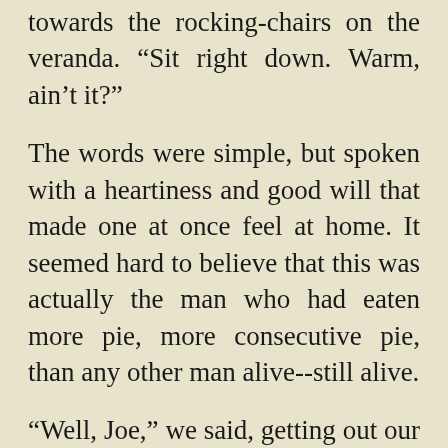towards the rocking-chairs on the veranda. "Sit right down. Warm, ain't it?"
The words were simple, but spoken with a heartiness and good will that made one at once feel at home. It seemed hard to believe that this was actually the man who had eaten more pie, more consecutive pie, than any other man alive--still alive.
"Well, Joe," we said, getting out our notebooks and pencils, "what about this pie?"
Mr. Brown laughed, with that pleasant, easy laugh of his, which makes one feel entirely reassured